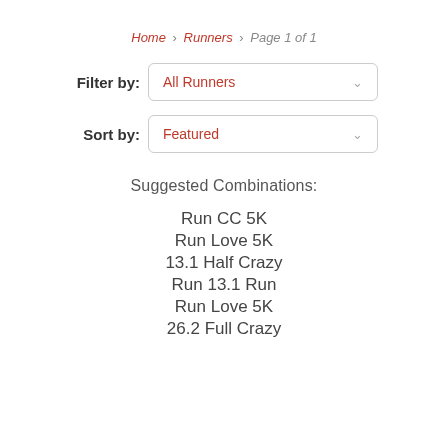Home › Runners › Page 1 of 1
Filter by: All Runners
Sort by: Featured
Suggested Combinations:
Run CC 5K
Run Love 5K
13.1 Half Crazy
Run 13.1 Run
Run Love 5K
26.2 Full Crazy